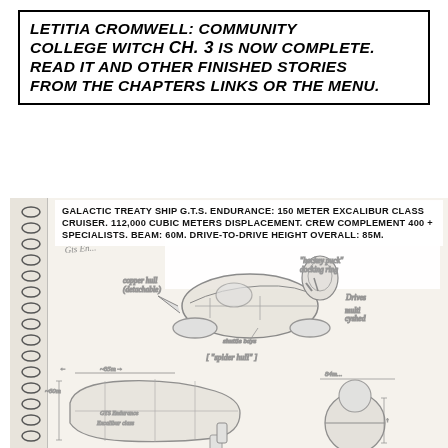LETITIA CROMWELL: COMMUNITY COLLEGE WITCH CH. 3 IS NOW COMPLETE. READ IT AND OTHER FINISHED STORIES FROM THE CHAPTERS LINKS OR THE MENU.
[Figure (illustration): Spiral-bound sketchbook page showing pencil sketches of a spaceship (Galactic Treaty Ship G.T.S. Endurance, Excalibur class cruiser) from multiple angles, with handwritten annotations including 'copper hull (detachable)', 'spider hull', dimension notes (~60m, ~85m), and detail callouts. Multiple views: perspective, side elevation, and front view. Lower section includes additional small sketches.]
GALACTIC TREATY SHIP G.T.S. ENDURANCE: 150 METER EXCALIBUR CLASS CRUISER. 112,000 CUBIC METERS DISPLACEMENT. CREW COMPLEMENT 400 + SPECIALISTS. BEAM: 60M. DRIVE-TO-DRIVE HEIGHT OVERALL: 85M.